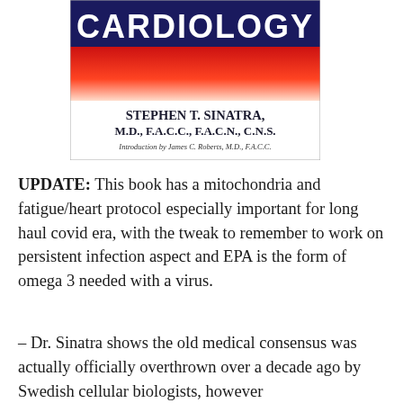[Figure (illustration): Book cover showing partial title 'CARDIOLOGY' in white text on dark navy background with red-to-white gradient band, author name 'STEPHEN T. SINATRA, M.D., F.A.C.C., F.A.C.N., C.N.S.' and 'Introduction by James C. Roberts, M.D., F.A.C.C.' on white background]
UPDATE: This book has a mitochondria and fatigue/heart protocol especially important for long haul covid era, with the tweak to remember to work on persistent infection aspect and EPA is the form of omega 3 needed with a virus.
– Dr. Sinatra shows the old medical consensus was actually officially overthrown over a decade ago by Swedish cellular biologists, however